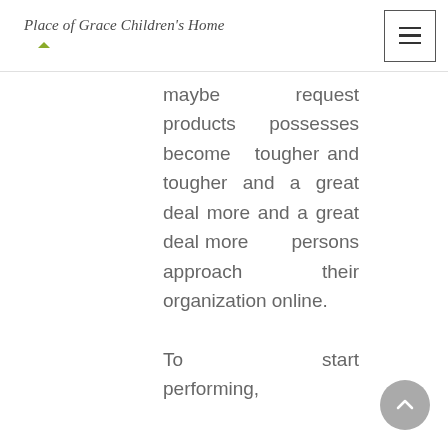Place of Grace Children's Home
maybe request products possesses become tougher and tougher and a great deal more and a great deal more persons approach their organization online.

To start performing,